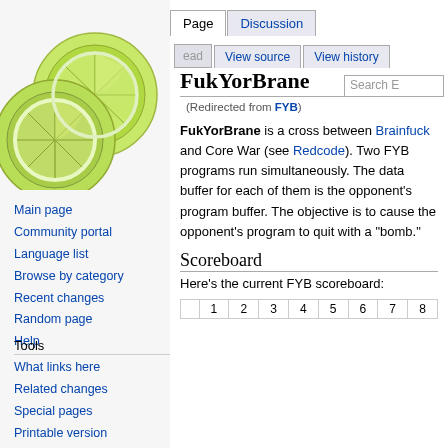Create account  Log in
[Figure (photo): Three lime slices overlapping, viewed from above]
Main page
Community portal
Language list
Browse by category
Recent changes
Random page
Help
Tools
What links here
Related changes
Special pages
Printable version
Permanent link
FukYorBrane
(Redirected from FYB)
FukYorBrane is a cross between Brainfuck and Core War (see Redcode). Two FYB programs run simultaneously. The data buffer for each of them is the opponent's program buffer. The objective is to cause the opponent's program to quit with a "bomb."
Scoreboard
Here's the current FYB scoreboard:
|  | 1 | 2 | 3 | 4 | 5 | 6 | 7 | 8 |
| --- | --- | --- | --- | --- | --- | --- | --- | --- |